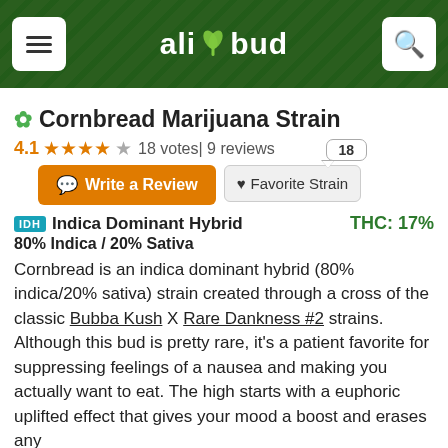allbud
Cornbread Marijuana Strain
4.1 ★★★★☆ 18 votes| 9 reviews
Write a Review   ❤ Favorite Strain   18
IDH Indica Dominant Hybrid   THC: 17%
80% Indica / 20% Sativa
Cornbread is an indica dominant hybrid (80% indica/20% sativa) strain created through a cross of the classic Bubba Kush X Rare Dankness #2 strains. Although this bud is pretty rare, it's a patient favorite for suppressing feelings of a nausea and making you actually want to eat. The high starts with a euphoric uplifted effect that gives your mood a boost and erases any